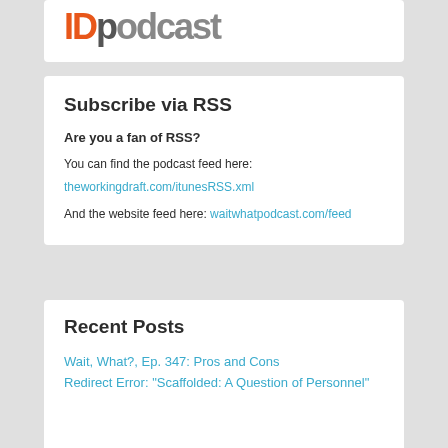[Figure (logo): Partially visible logo with orange letters at top of page]
Subscribe via RSS
Are you a fan of RSS?
You can find the podcast feed here:
theworkingdraft.com/itunesRSS.xml
And the website feed here: waitwhatpodcast.com/feed
Recent Posts
Wait, What?, Ep. 347: Pros and Cons
Redirect Error: "Scaffolded: A Question of Personnel"